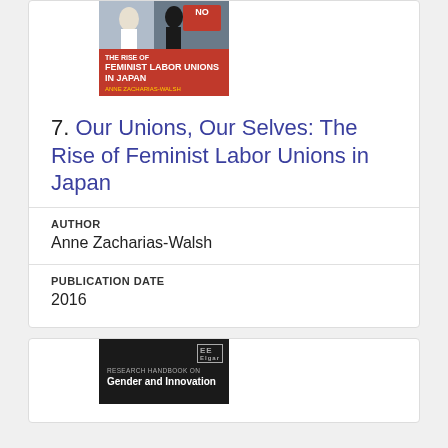[Figure (photo): Book cover of 'The Rise of Feminist Labor Unions in Japan' by Anne Zacharias-Walsh, with a red banner and protest photo]
7. Our Unions, Our Selves: The Rise of Feminist Labor Unions in Japan
AUTHOR
Anne Zacharias-Walsh
PUBLICATION DATE
2016
[Figure (photo): Book cover of 'Research Handbook on Gender and Innovation', dark background with EE Elgar logo]